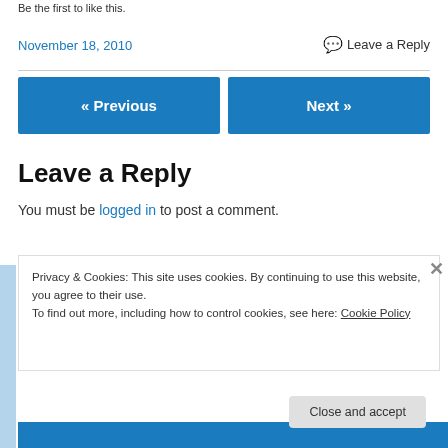Be the first to like this.
November 18, 2010
Leave a Reply
« Previous
Next »
Leave a Reply
You must be logged in to post a comment.
Privacy & Cookies: This site uses cookies. By continuing to use this website, you agree to their use.
To find out more, including how to control cookies, see here: Cookie Policy
Close and accept